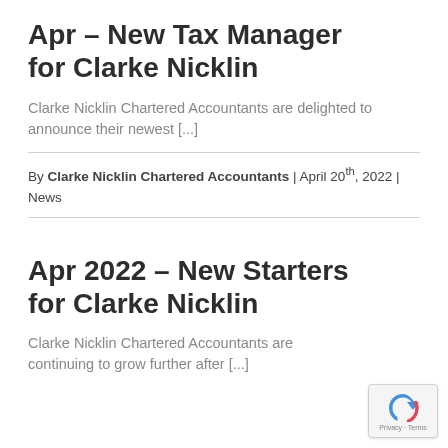Apr – New Tax Manager for Clarke Nicklin
Clarke Nicklin Chartered Accountants are delighted to announce their newest [...]
By Clarke Nicklin Chartered Accountants | April 20th, 2022 | News
Apr 2022 – New Starters for Clarke Nicklin
Clarke Nicklin Chartered Accountants are continuing to grow further after [...]
[Figure (logo): reCAPTCHA badge with arrow icon and Privacy - Terms text]